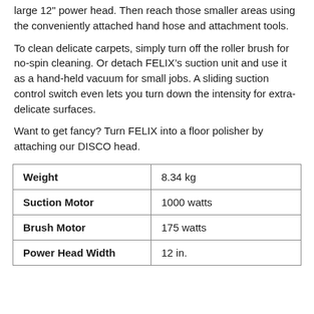large 12" power head. Then reach those smaller areas using the conveniently attached hand hose and attachment tools.
To clean delicate carpets, simply turn off the roller brush for no-spin cleaning. Or detach FELIX's suction unit and use it as a hand-held vacuum for small jobs. A sliding suction control switch even lets you turn down the intensity for extra-delicate surfaces.
Want to get fancy? Turn FELIX into a floor polisher by attaching our DISCO head.
| Weight | 8.34 kg |
| Suction Motor | 1000 watts |
| Brush Motor | 175 watts |
| Power Head Width | 12 in. |